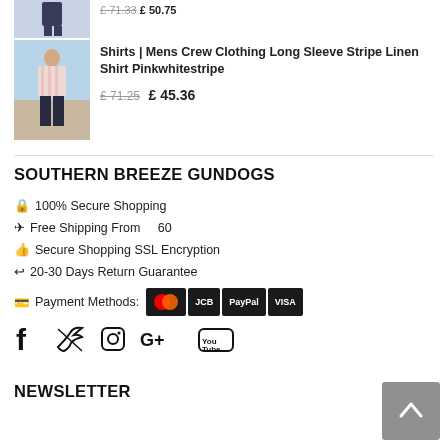[Figure (photo): Small product thumbnail showing a man in dark trousers at top of page (partially visible)]
£ 71.33 £ 50.75
[Figure (photo): Product thumbnail showing a man wearing a pink and white striped linen shirt standing outdoors]
Shirts | Mens Crew Clothing Long Sleeve Stripe Linen Shirt Pinkwhitestripe
£ 71.25  £ 45.36
SOUTHERN BREEZE GUNDOGS
🔒 100% Secure Shopping
✈ Free Shipping From    60
👍 Secure Shopping SSL Encryption
↩ 20-30 Days Return Guarantee
Payment Methods: [Mastercard] [JCB] [PayPal] [VISA]
[Figure (logo): Social media icons: Facebook, Twitter, Instagram, Google+, YouTube]
NEWSLETTER
[Figure (other): Back to top arrow button, grey square with upward chevron]